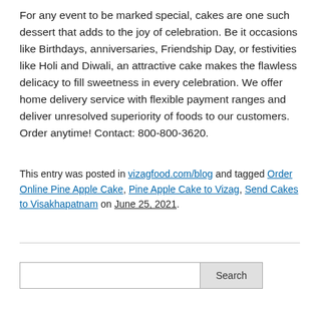For any event to be marked special, cakes are one such dessert that adds to the joy of celebration. Be it occasions like Birthdays, anniversaries, Friendship Day, or festivities like Holi and Diwali, an attractive cake makes the flawless delicacy to fill sweetness in every celebration. We offer home delivery service with flexible payment ranges and deliver unresolved superiority of foods to our customers. Order anytime! Contact: 800-800-3620.
This entry was posted in vizagfood.com/blog and tagged Order Online Pine Apple Cake, Pine Apple Cake to Vizag, Send Cakes to Visakhapatnam on June 25, 2021.